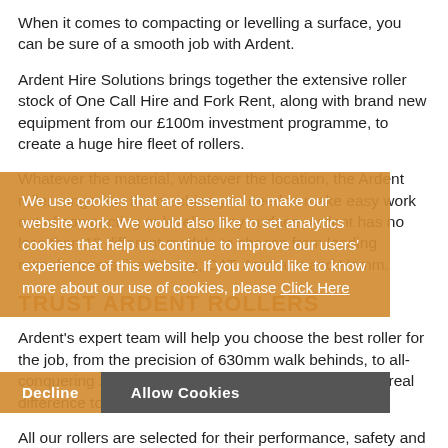When it comes to compacting or levelling a surface, you can be sure of a smooth job with Ardent.
Ardent Hire Solutions brings together the extensive roller stock of One Call Hire and Fork Rent, along with brand new equipment from our £100m investment programme, to create a huge hire fleet of rollers.
Whatever the material, whatever the location, the Ardent roller range has the machine you need to make easy work out of compacting or leveling any surface. Ardent has no less than 13 different models to choose from leading manufacturers like Bomag, CAT, Ammann and Hamm.
TRUST ARDENT ROLLERS
Ardent's expert team will help you choose the best roller for the job, from the precision of 630mm walk behinds, to all-conquering 2200mm drum machines that can make a real difference to on-site productivity.
All our rollers are selected for their performance, safety and operator comfort, and our fleet is one of the youngest and
We use cookies that are essential to make our website work. We would also like to set analytics cookies that help us continue to improve our users' experience of this website. If you would like to know more about our use of cookies, please Click Here
Decline
Allow Cookies